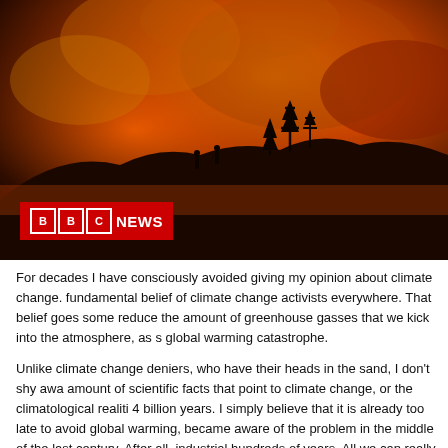[Figure (photo): A wildfire scene at night with orange glowing sky, silhouetted trees and hillside, and a BBC NEWS logo overlay in the bottom left corner.]
For decades I have consciously avoided giving my opinion about climate change. fundamental belief of climate change activists everywhere. That belief goes some reduce the amount of greenhouse gasses that we kick into the atmosphere, as s global warming catastrophe.
Unlike climate change deniers, who have their heads in the sand, I don't shy awa amount of scientific facts that point to climate change, or the climatological realiti 4 billion years. I simply believe that it is already too late to avoid global warming, became aware of the problem in the middle of the last century. After all, industrial hundreds of years. All we can really do now is damage control, and it may be a w